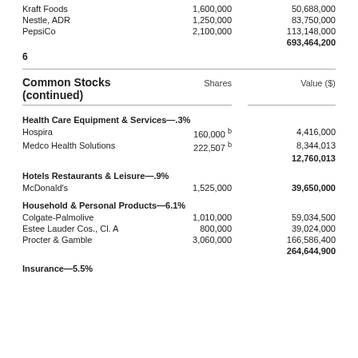|  | Shares | Value ($) |
| --- | --- | --- |
| Kraft Foods | 1,600,000 | 50,688,000 |
| Nestle, ADR | 1,250,000 | 83,750,000 |
| PepsiCo | 2,100,000 | 113,148,000 |
|  |  | 693,464,200 |
6
Common Stocks (continued)
|  | Shares | Value ($) |
| --- | --- | --- |
| Health Care Equipment & Services—.3% |  |  |
| Hospira | 160,000 b | 4,416,000 |
| Medco Health Solutions | 222,507 b | 8,344,013 |
|  |  | 12,760,013 |
| Hotels Restaurants & Leisure—.9% |  |  |
| McDonald's | 1,525,000 | 39,650,000 |
| Household & Personal Products—6.1% |  |  |
| Colgate-Palmolive | 1,010,000 | 59,034,500 |
| Estee Lauder Cos., Cl. A | 800,000 | 39,024,000 |
| Procter & Gamble | 3,060,000 | 166,586,400 |
|  |  | 264,644,900 |
| Insurance—5.5% |  |  |